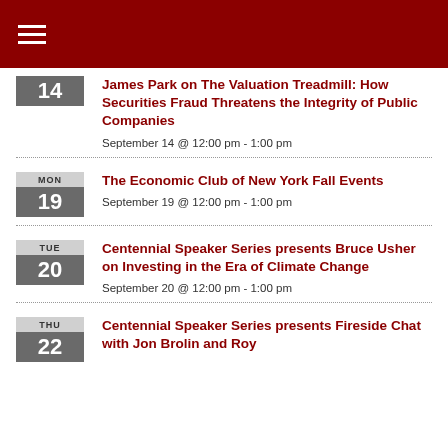James Park on The Valuation Treadmill: How Securities Fraud Threatens the Integrity of Public Companies — September 14 @ 12:00 pm - 1:00 pm
The Economic Club of New York Fall Events — September 19 @ 12:00 pm - 1:00 pm
Centennial Speaker Series presents Bruce Usher on Investing in the Era of Climate Change — September 20 @ 12:00 pm - 1:00 pm
Centennial Speaker Series presents Fireside Chat with Jon Brolin and Roy — September 22